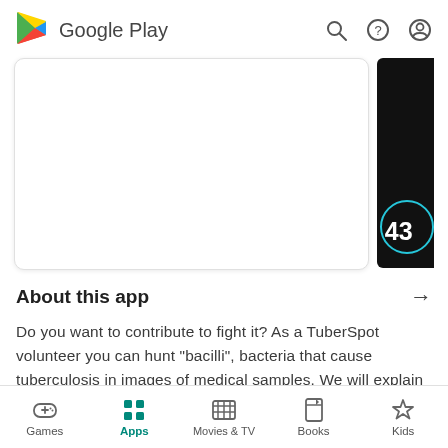Google Play
[Figure (screenshot): Google Play app store screenshot showing a white app preview card and a partial black screenshot with the number 43]
About this app →
Do you want to contribute to fight it? As a TuberSpot volunteer you can hunt "bacilli", bacteria that cause tuberculosis in images of medical samples. We will explain to you how to easily distinguish bacilli, which you wil have to "point and shoot". But beware, there are also "artifacts": they look like
Games  Apps  Movies & TV  Books  Kids